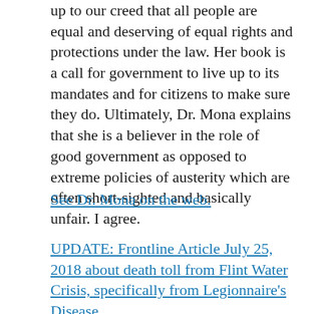up to our creed that all people are equal and deserving of equal rights and protections under the law. Her book is a call for government to live up to its mandates and for citizens to make sure they do. Ultimately, Dr. Mona explains that she is a believer in the role of good government as opposed to extreme policies of austerity which are often short-sighted and basically unfair. I agree.
See Dr. Mona on the web.
UPDATE: Frontline Article July 25, 2018 about death toll from Flint Water Crisis, specifically from Legionnaire's Disease.